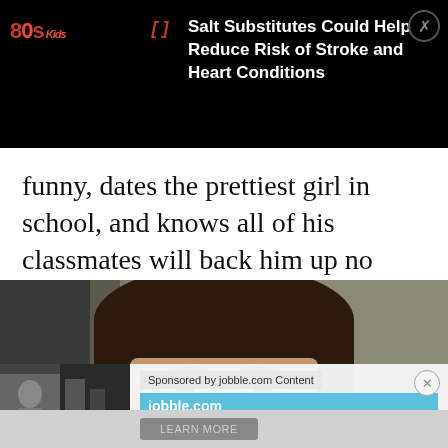80s Kids — Salt Substitutes Could Help Reduce Risk of Stroke and Heart Conditions
funny, dates the prettiest girl in school, and knows all of his classmates will back him up no matter what.
[Figure (photo): Close-up photo of a young man's face, peeking upward, with bookshelves in the background]
[Figure (screenshot): Sponsored ad overlay: jobble.com — freddie mac General Operational Manager Jobs in [city]. LEARN MORE button.]